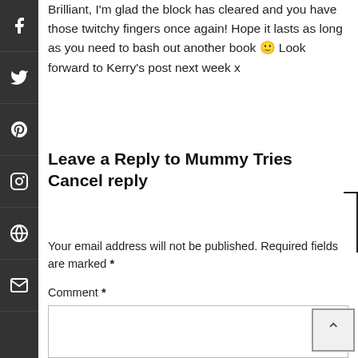Brilliant, I'm glad the block has cleared and you have those twitchy fingers once again! Hope it lasts as long as you need to bash out another book 🙂 Look forward to Kerry's post next week x
Leave a Reply to Mummy Tries Cancel reply
Your email address will not be published. Required fields are marked *
Comment *